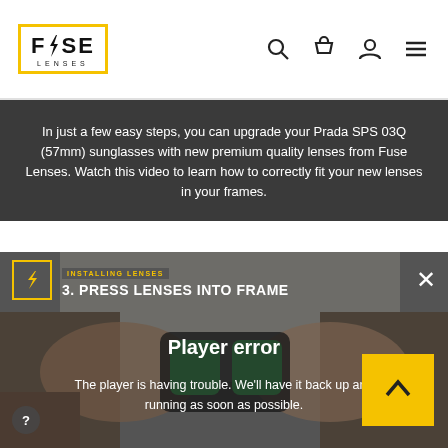Fuse Lenses — navigation header with logo, search, cart, account, and menu icons
In just a few easy steps, you can upgrade your Prada SPS 03Q (57mm) sunglasses with new premium quality lenses from Fuse Lenses. Watch this video to learn how to correctly fit your new lenses in your frames.
[Figure (screenshot): Video player showing step 3: 'PRESS LENSES INTO FRAME' with hands pressing lenses into sunglass frames. A player error overlay reads 'Player error' and 'The player is having trouble. We'll have it back up and running as soon as possible.' A yellow scroll-up button is visible in the bottom right.]